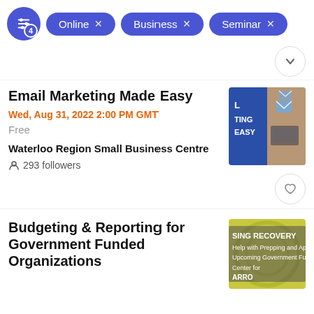Filters: Online x | Business x | Seminar x
Email Marketing Made Easy
Wed, Aug 31, 2022 2:00 PM GMT
Free
Waterloo Region Small Business Centre
293 followers
[Figure (photo): Email Marketing Made Easy event thumbnail — blue background with laptop and email envelope icons]
Budgeting & Reporting for Government Funded Organizations
[Figure (photo): Budgeting event thumbnail — yellow/green background with text 'SING RECOVERY, Help with Prepping and App, Upcoming Government Fun, Center for, ARRO']